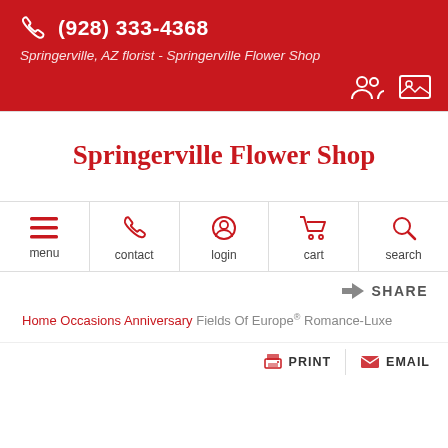(928) 333-4368
Springerville, AZ florist - Springerville Flower Shop
Springerville Flower Shop
[Figure (screenshot): Navigation bar with menu, contact, login, cart, search icons]
SHARE
Home  Occasions  Anniversary  Fields Of Europe® Romance-Luxe
PRINT  EMAIL